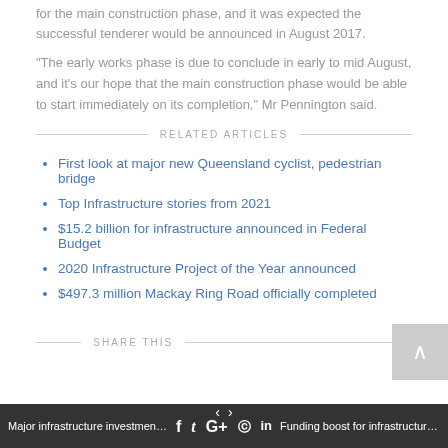for the main construction phase, and it was expected the successful tenderer would be announced in August 2017.
"The early works phase is due to conclude in early to mid August, and it's our hope that the main construction phase would be able to start immediately on its completion," Mr Pennington said.
RELATED ARTICLES
First look at major new Queensland cyclist, pedestrian bridge
Top Infrastructure stories from 2021
$15.2 billion for infrastructure announced in Federal Budget
2020 Infrastructure Project of the Year announced
$497.3 million Mackay Ring Road officially completed
SHARE THIS
Major infrastructure investment for Town... | Funding boost for infrastructure in North...